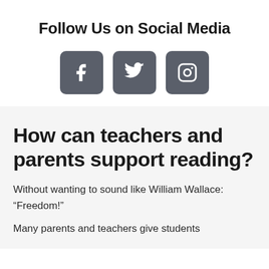Follow Us on Social Media
[Figure (infographic): Three social media icon buttons: Facebook (f), Twitter (bird), and Instagram (camera), displayed as dark grey rounded square buttons]
How can teachers and parents support reading?
Without wanting to sound like William Wallace: “Freedom!”
Many parents and teachers give students